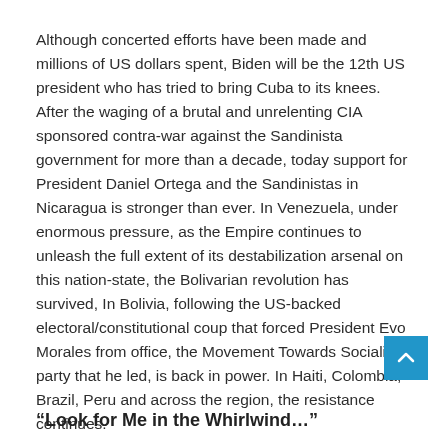Although concerted efforts have been made and millions of US dollars spent, Biden will be the 12th US president who has tried to bring Cuba to its knees. After the waging of a brutal and unrelenting CIA sponsored contra-war against the Sandinista government for more than a decade, today support for President Daniel Ortega and the Sandinistas in Nicaragua is stronger than ever. In Venezuela, under enormous pressure, as the Empire continues to unleash the full extent of its destabilization arsenal on this nation-state, the Bolivarian revolution has survived, In Bolivia, following the US-backed electoral/constitutional coup that forced President Evo Morales from office, the Movement Towards Socialism party that he led, is back in power. In Haiti, Colombia, Brazil, Peru and across the region, the resistance continues.
“Look for Me in the Whirlwind…”